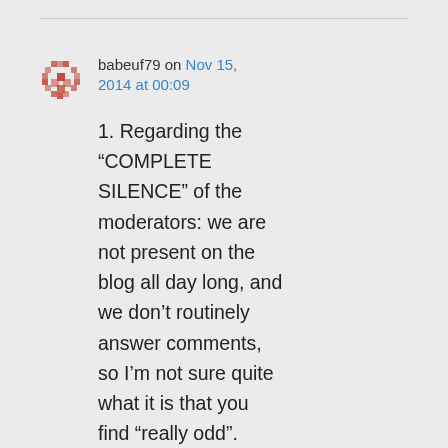babeuf79 on Nov 15, 2014 at 00:09
1. Regarding the “COMPLETE SILENCE” of the moderators: we are not present on the blog all day long, and we don’t routinely answer comments, so I’m not sure quite what it is that you find “really odd”. Sadly, it is the ones who scream loudest